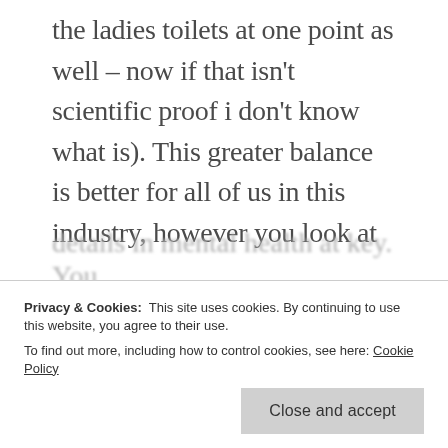the ladies toilets at one point as well – now if that isn't scientific proof i don't know what is). This greater balance is better for all of us in this industry, however you look at it.

As for wellness, I counted at least three sessions on the impact of infosec on mental health, including one keynote. I was informed just today that a straw
Privacy & Cookies: This site uses cookies. By continuing to use this website, you agree to their use.
To find out more, including how to control cookies, see here: Cookie Policy
Close and accept